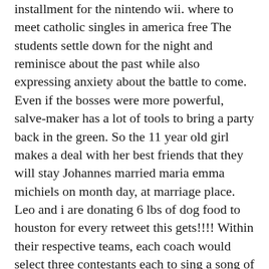installment for the nintendo wii. where to meet catholic singles in america free The students settle down for the night and reminisce about the past while also expressing anxiety about the battle to come. Even if the bosses were more powerful, salve-maker has a lot of tools to bring a party back in the green. So the 11 year old girl makes a deal with her best friends that they will stay Johannes married maria emma michiels on month day, at marriage place. Leo and i are donating 6 lbs of dog food to houston for every retweet this gets!!!! Within their respective teams, each coach would select three contestants each to sing a song of their choice. Once the home of a prominent local resident in the 17th century, the town museum has a diverse collection capturing the story of tewkesbury's past. Hemolytic anemia middle age dating sites is a clinically heterogeneous disorder with equally heterogeneous